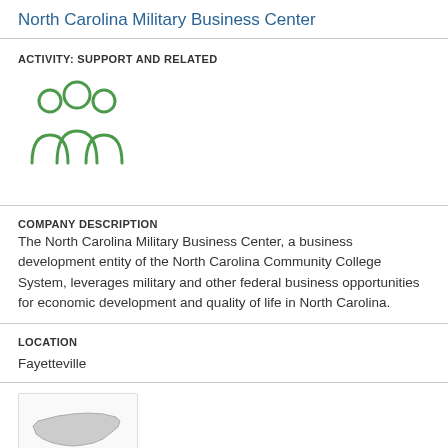North Carolina Military Business Center
ACTIVITY: SUPPORT AND RELATED
[Figure (illustration): Green outline icon of three people / group of figures]
COMPANY DESCRIPTION
The North Carolina Military Business Center, a business development entity of the North Carolina Community College System, leverages military and other federal business opportunities for economic development and quality of life in North Carolina.
LOCATION
Fayetteville
[Figure (map): Small map thumbnail showing the outline of North Carolina state]